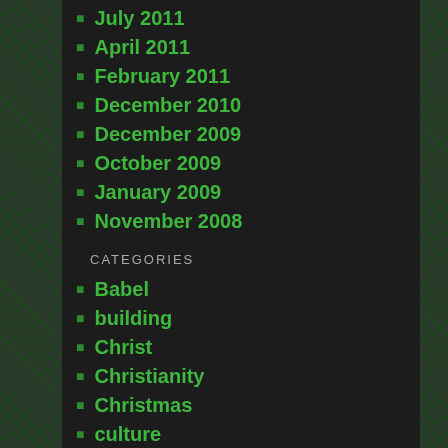July 2011
April 2011
February 2011
December 2010
December 2009
October 2009
January 2009
November 2008
CATEGORIES
Babel
building
Christ
Christianity
Christmas
culture
death
Eastern Christian Orthodox
endurance
eternal
Family